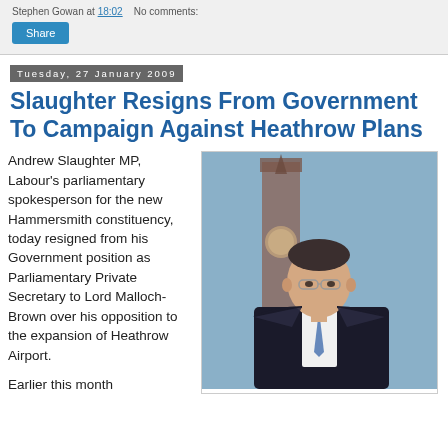Stephen Gowan at 18:02   No comments:
Share
Tuesday, 27 January 2009
Slaughter Resigns From Government To Campaign Against Heathrow Plans
Andrew Slaughter MP, Labour's parliamentary spokesperson for the new Hammersmith constituency, today resigned from his Government position as Parliamentary Private Secretary to Lord Malloch-Brown over his opposition to the expansion of Heathrow Airport.
[Figure (photo): Portrait photo of Andrew Slaughter MP in a dark suit and blue tie, with Big Ben visible in the background.]
Earlier this month